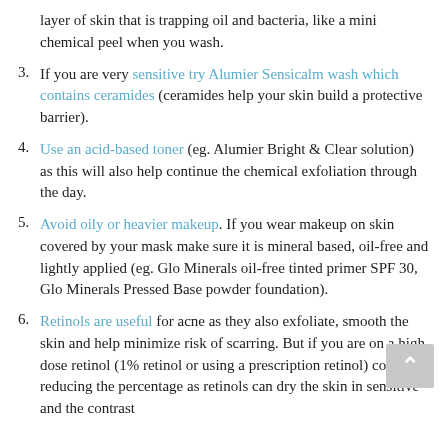layer of skin that is trapping oil and bacteria, like a mini chemical peel when you wash.
3. If you are very sensitive try Alumier Sensicalm wash which contains ceramides (ceramides help your skin build a protective barrier).
4. Use an acid-based toner (eg. Alumier Bright & Clear solution) as this will also help continue the chemical exfoliation through the day.
5. Avoid oily or heavier makeup. If you wear makeup on skin covered by your mask make sure it is mineral based, oil-free and lightly applied (eg. Glo Minerals oil-free tinted primer SPF 30, Glo Minerals Pressed Base powder foundation).
6. Retinols are useful for acne as they also exfoliate, smooth the skin and help minimize risk of scarring. But if you are on a high dose retinol (1% retinol or using a prescription retinol) consider reducing the percentage as retinols can dry the skin in sensitive and the contrast...